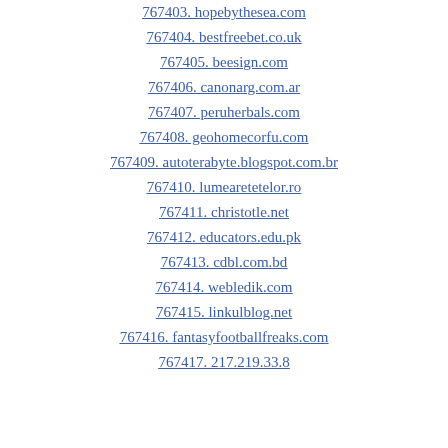767403. hopebythesea.com
767404. bestfreebet.co.uk
767405. beesign.com
767406. canonarg.com.ar
767407. peruherbals.com
767408. geohomecorfu.com
767409. autoterabyte.blogspot.com.br
767410. lumearetetelor.ro
767411. christotle.net
767412. educators.edu.pk
767413. cdbl.com.bd
767414. webledik.com
767415. linkulblog.net
767416. fantasyfootballfreaks.com
767417. 217.219.33.8